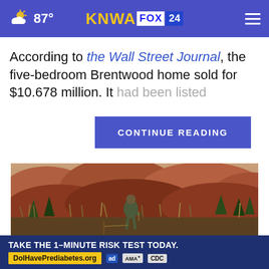87° KNWA FOX 24
According to the Wall Street Journal, the five-bedroom Brentwood home sold for $10.678 million. It had been listed
CONTINUE READING
[Figure (photo): Hunter in camouflage gear walking through tall grass with red rock badlands in the background]
THE HUNT STARTS HERE
TAKE THE 1-MINUTE RISK TEST TODAY. DolHavePrediabetes.org
SPORTS+OUTDOORS